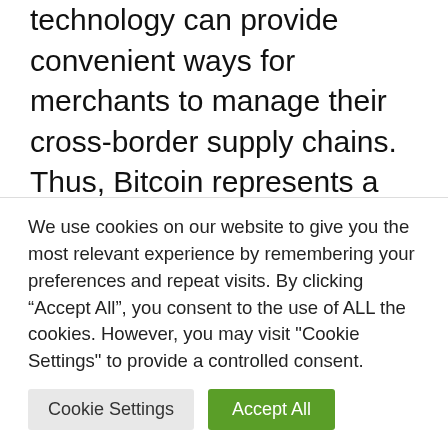technology can provide convenient ways for merchants to manage their cross-border supply chains. Thus, Bitcoin represents a viable innovation for the e-commerce sector.
E-commerce
< the extension of aid to companies is "excellent news"
> for the first time in Belgium, the company
We use cookies on our website to give you the most relevant experience by remembering your preferences and repeat visits. By clicking “Accept All”, you consent to the use of ALL the cookies. However, you may visit "Cookie Settings" to provide a controlled consent.